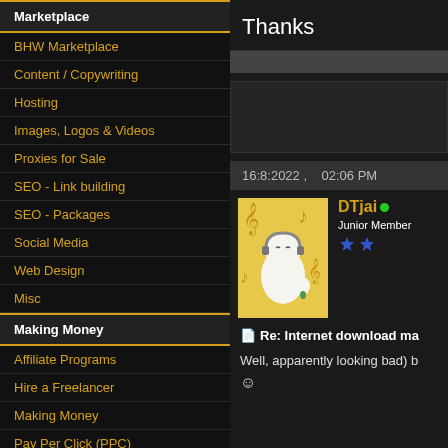Marketplace
BHW Marketplace
Content / Copywriting
Hosting
Images, Logos & Videos
Proxies for Sale
SEO - Link building
SEO - Packages
Social Media
Web Design
Misc
Making Money
Affiliate Programs
Hire a Freelancer
Making Money
Pay Per Click (PPC)
Site Flipping
Thanks
16:8:2022 ,   02:06 PM
DTjai
Junior Member
Re: Internet download ma
Well, apparently looking bad) b
☺